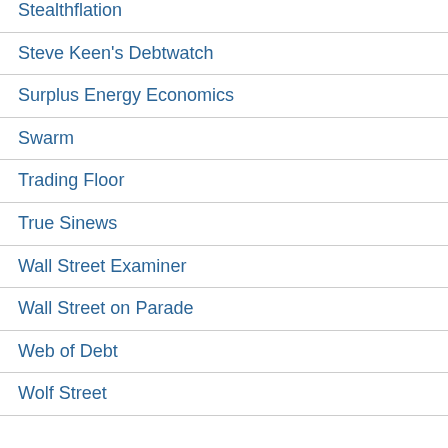Stealthflation
Steve Keen's Debtwatch
Surplus Energy Economics
Swarm
Trading Floor
True Sinews
Wall Street Examiner
Wall Street on Parade
Web of Debt
Wolf Street